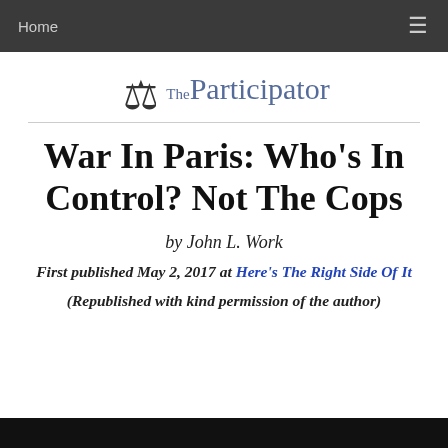Home  ☰
[Figure (logo): The Participator logo with scales of justice figure icon and text 'TheParticipator' in blue-purple serif font]
War In Paris: Who's In Control? Not The Cops
by John L. Work
First published May 2, 2017 at Here's The Right Side Of It
(Republished with kind permission of the author)